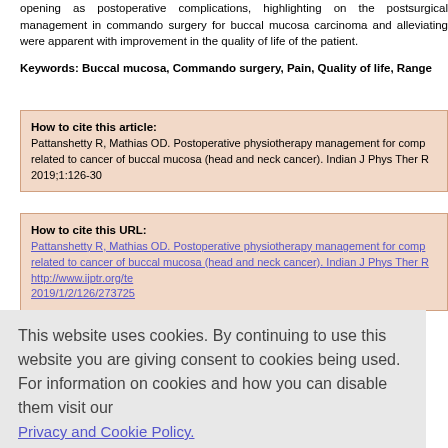opening as postoperative complications, highlighting on the postsurgical management in commando surgery for buccal mucosa carcinoma and alleviating were apparent with improvement in the quality of life of the patient.
Keywords: Buccal mucosa, Commando surgery, Pain, Quality of life, Range
How to cite this article: Pattanshetty R, Mathias OD. Postoperative physiotherapy management for complications related to cancer of buccal mucosa (head and neck cancer). Indian J Phys Ther 2019;1:126-30
How to cite this URL: Pattanshetty R, Mathias OD. Postoperative physiotherapy management for complications related to cancer of buccal mucosa (head and neck cancer). Indian J Phys Ther http://www.ijptr.org/te 2019/1/2/126/273725
This website uses cookies. By continuing to use this website you are giving consent to cookies being used. For information on cookies and how you can disable them visit our Privacy and Cookie Policy. AGREE & PROCEED
Introduction
Oral cancer is regarded as the sixth most common cancer all across the world